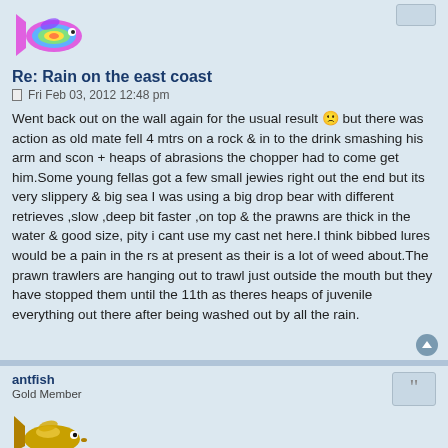[Figure (illustration): Colorful rainbow-colored fish avatar image]
Re: Rain on the east coast
Fri Feb 03, 2012 12:48 pm
Went back out on the wall again for the usual result 😕 but there was action as old mate fell 4 mtrs on a rock & in to the drink smashing his arm and scon + heaps of abrasions the chopper had to come get him.Some young fellas got a few small jewies right out the end but its very slippery & big sea I was using a big drop bear with different retrieves ,slow ,deep bit faster ,on top & the prawns are thick in the water & good size, pity i cant use my cast net here.I think bibbed lures would be a pain in the rs at present as their is a lot of weed about.The prawn trawlers are hanging out to trawl just outside the mouth but they have stopped them until the 11th as theres heaps of juvenile everything out there after being washed out by all the rain.
antfish
Gold Member
[Figure (illustration): Gold fish avatar image for user antfish]